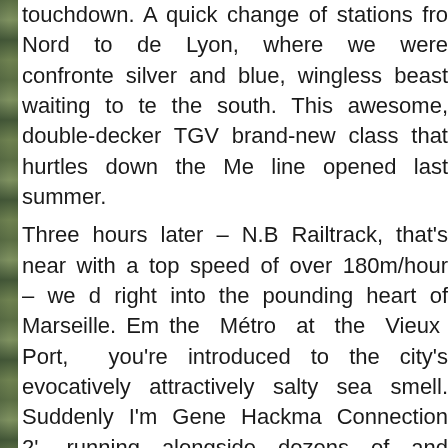[Figure (photo): Partial view of a green/foliage photograph strip along the left edge of the page]
touchdown. A quick change of stations from Nord to de Lyon, where we were confronted silver and blue, wingless beast waiting to te the south. This awesome, double-decker TGV brand-new class that hurtles down the Mc line opened last summer.
Three hours later – N.B Railtrack, that's near with a top speed of over 180m/hour – we c right into the pounding heart of Marseille. Em the Métro at the Vieux Port, you're introduced to the city's evocatively attractively salty sea smell. Suddenly I'm Gene Hackma Connection 2', running alongside dozens of and workmanlike fishing boats moored in the to gun down escaping drug baron Charnier.